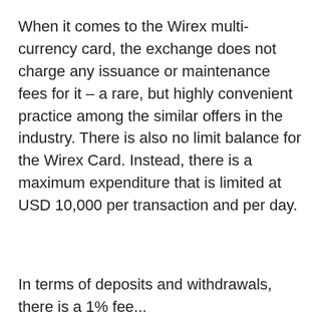When it comes to the Wirex multi-currency card, the exchange does not charge any issuance or maintenance fees for it – a rare, but highly convenient practice among the similar offers in the industry. There is also no limit balance for the Wirex Card. Instead, there is a maximum expenditure that is limited at USD 10,000 per transaction and per day.
In terms of deposits and withdrawals, there is a 1% fee...